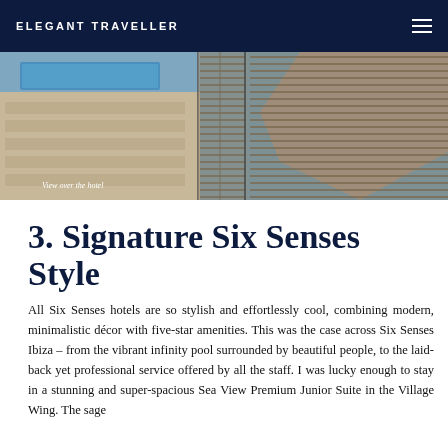ELEGANT TRAVELLER
[Figure (photo): Aerial view over Six Senses Ibiza hotel showing terraced structures, pool and rocky coastline]
View over the hotel
3. Signature Six Senses Style
All Six Senses hotels are so stylish and effortlessly cool, combining modern, minimalistic décor with five-star amenities. This was the case across Six Senses Ibiza – from the vibrant infinity pool surrounded by beautiful people, to the laid-back yet professional service offered by all the staff. I was lucky enough to stay in a stunning and super-spacious Sea View Premium Junior Suite in the Village Wing. The sage